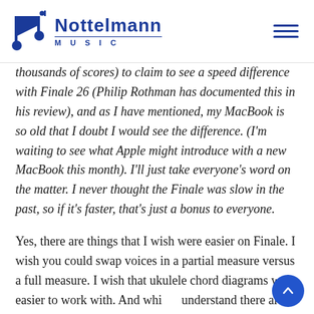Nottelmann Music
thousands of scores) to claim to see a speed difference with Finale 26 (Philip Rothman has documented this in his review), and as I have mentioned, my MacBook is so old that I doubt I would see the difference. (I'm waiting to see what Apple might introduce with a new MacBook this month). I'll just take everyone's word on the matter. I never thought the Finale was slow in the past, so if it's faster, that's just a bonus to everyone.
Yes, there are things that I wish were easier on Finale. I wish you could swap voices in a partial measure versus a full measure. I wish that ukulele chord diagrams were easier to work with. And while I understand there are third party scanning apps, as